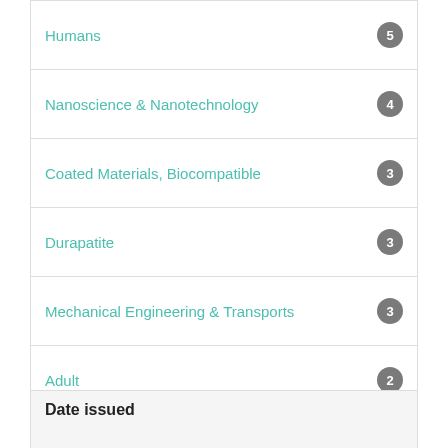Humans
Nanoscience & Nanotechnology
Coated Materials, Biocompatible
Durapatite
Mechanical Engineering & Transports
Adult
Animals
Applied Physics
Biomedical Engineering
next >
Date issued